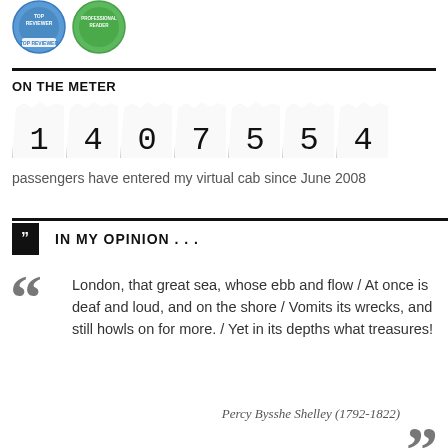[Figure (illustration): Two circular badge icons: a blue 'Top Reviewer' badge and a green badge with text, partially visible at top of page.]
ON THE METER
[Figure (infographic): Odometer-style counter showing the digits 1 4 0 7 5 5 4, each digit in a torn-paper style box.]
passengers have entered my virtual cab since June 2008
IN MY OPINION . . .
London, that great sea, whose ebb and flow / At once is deaf and loud, and on the shore / Vomits its wrecks, and still howls on for more. / Yet in its depths what treasures!
Percy Bysshe Shelley (1792-1822)